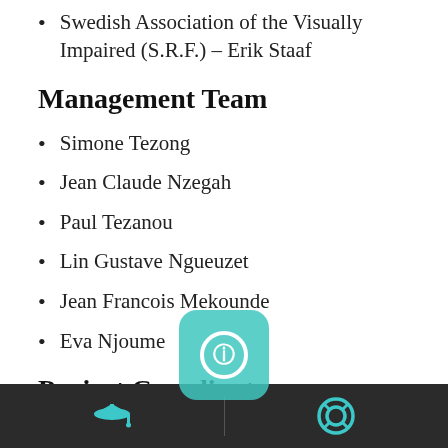Swedish Association of the Visually Impaired (S.R.F.) – Erik Staaf
Management Team
Simone Tezong
Jean Claude Nzegah
Paul Tezanou
Lin Gustave Ngueuzet
Jean Francois Mekounde
Eva Njoume
Project Coordinators
Cornelius Ojangole